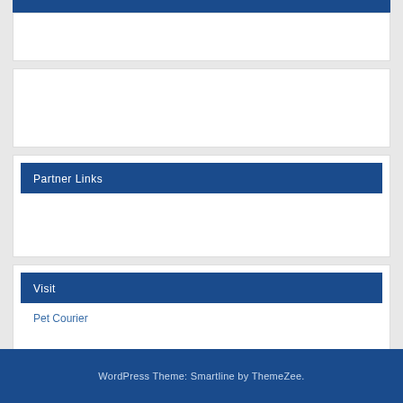Partner Links
Visit
Pet Courier
WordPress Theme: Smartline by ThemeZee.